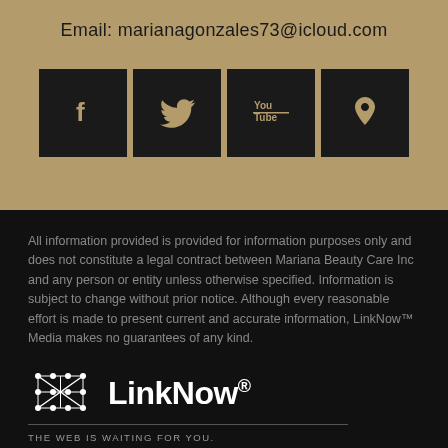Email: marianagonzales73@icloud.com
[Figure (illustration): Four social media icon buttons (Facebook, Twitter, YouTube, Location/Maps) with dark background on tan/gold section]
All information provided is provided for information purposes only and does not constitute a legal contract between Mariana Beauty Care Inc and any person or entity unless otherwise specified. Information is subject to change without prior notice. Although every reasonable effort is made to present current and accurate information, LinkNow™ Media makes no guarantees of any kind.
[Figure (logo): LinkNow® logo with network/web icon on left, bold white LinkNow® text, horizontal divider line, and tagline THE WEB IS WAITING FOR YOU.]